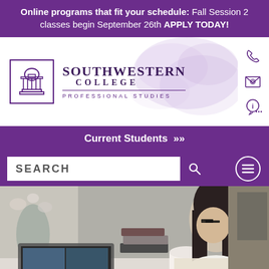Online programs that fit your schedule: Fall Session 2 classes begin September 26th APPLY TODAY!
[Figure (logo): Southwestern College Professional Studies logo with columned building icon]
[Figure (illustration): Purple watercolor splash background with phone, email, and info chat icons on the right side]
Current Students >>
SEARCH
[Figure (photo): Woman with glasses and dark hair studying at a desk with a laptop showing a video call, books, a white mug, and flowers in a vase in the background]